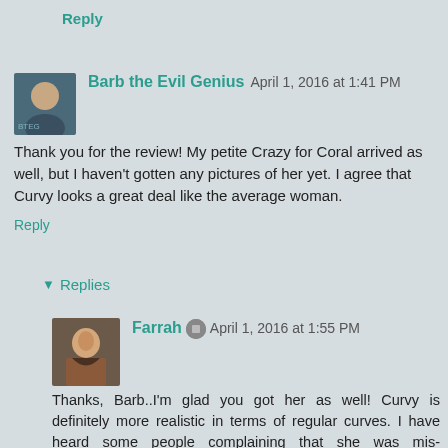Reply
Barb the Evil Genius  April 1, 2016 at 1:41 PM
Thank you for the review! My petite Crazy for Coral arrived as well, but I haven't gotten any pictures of her yet. I agree that Curvy looks a great deal like the average woman.
Reply
▾ Replies
Farrah 🔘 April 1, 2016 at 1:55 PM
Thanks, Barb..I'm glad you got her as well! Curvy is definitely more realistic in terms of regular curves. I have heard some people complaining that she was mis-proportioned (too wide at the hips and too narrow at the top), but I know a lot of people that have this shape, so I am not sure what they mean. From my 3 and 6 year olds' perspectives, they call her "the Mom" of the trio so not sure what that means either, lol. My legs